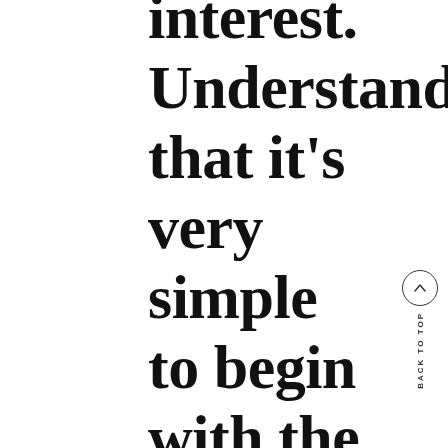interest. Understand that it's very simple to begin with the online going out with scene, but it's also